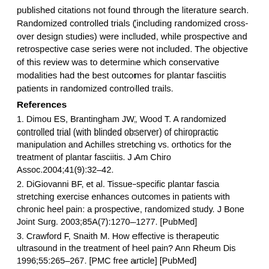published citations not found through the literature search. Randomized controlled trials (including randomized cross-over design studies) were included, while prospective and retrospective case series were not included. The objective of this review was to determine which conservative modalities had the best outcomes for plantar fasciitis patients in randomized controlled trails.
References
1. Dimou ES, Brantingham JW, Wood T. A randomized controlled trial (with blinded observer) of chiropractic manipulation and Achilles stretching vs. orthotics for the treatment of plantar fasciitis. J Am Chiro Assoc.2004;41(9):32–42.
2. DiGiovanni BF, et al. Tissue-specific plantar fascia stretching exercise enhances outcomes in patients with chronic heel pain: a prospective, randomized study. J Bone Joint Surg. 2003;85A(7):1270–1277. [PubMed]
3. Crawford F, Snaith M. How effective is therapeutic ultrasound in the treatment of heel pain? Ann Rheum Dis 1996;55:265–267. [PMC free article] [PubMed]